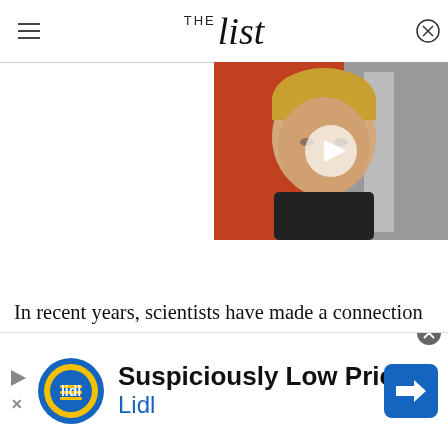THE list
[Figure (photo): Video thumbnail showing a young man with light hair against a red/grey background, with a white play button overlay]
In recent years, scientists have made a connection between substance abuse and the frontal cortex of the brain. According to the American Psychological
[Figure (other): Lidl advertisement banner: 'Suspiciously Low Prices / Lidl' with Lidl logo and a blue direction sign arrow icon]